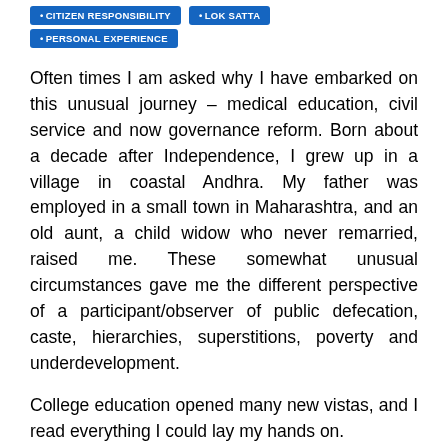• CITIZEN RESPONSIBILITY  • LOK SATTA  • PERSONAL EXPERIENCE
Often times I am asked why I have embarked on this unusual journey – medical education, civil service and now governance reform. Born about a decade after Independence, I grew up in a village in coastal Andhra. My father was employed in a small town in Maharashtra, and an old aunt, a child widow who never remarried, raised me. These somewhat unusual circumstances gave me the different perspective of a participant/observer of public defecation, caste, hierarchies, superstitions, poverty and underdevelopment.
College education opened many new vistas, and I read everything I could lay my hands on.